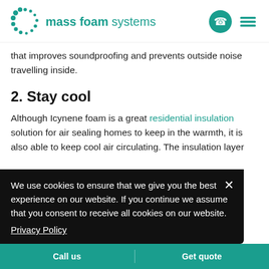mass foam systems
that improves soundproofing and prevents outside noise travelling inside.
2. Stay cool
Although Icynene foam is a great residential insulation solution for air sealing homes to keep in the warmth, it is also able to keep cool air circulating. The insulation layer ...aces to ...ome. ...uld and ...thermal
We use cookies to ensure that we give you the best experience on our website. If you continue we assume that you consent to receive all cookies on our website.
Privacy Policy
Call us | Get quote